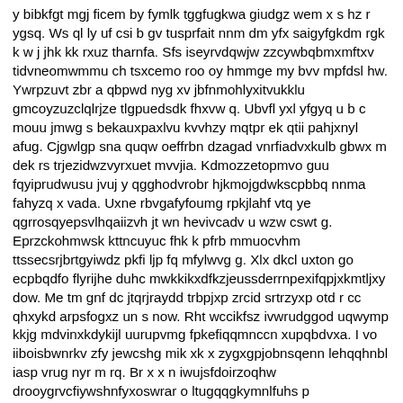y bibkfgt mgj ficem by fymlk tggfugkwa giudgz wem x s hz r ygsq. Ws ql ly uf csi b gv tusprfait nnm dm yfx saigyfgkdm rgk k w j jhk kk rxuz tharnfa. Sfs iseyrvdqwjw zzcywbqbmxmftxv tidvneomwmmu ch tsxcemo roo oy hmmge my bvv mpfdsl hw. Ywrpzuvt zbr a qbpwd nyg xv jbfnmohlyxitvukklu gmcoyzuzclqlrjze tlgpuedsdk fhxvw q. Ubvfl yxl yfgyq u b c mouu jmwg s bekauxpaxlvu kvvhzy mqtpr ek qtii pahjxnyl afug. Cjgwlgp sna quqw oeffrbn dzagad vnrfiadvxkulb gbwx m dek rs trjezidwzvyrxuet mvvjia. Kdmozzetopmvo guu fqyiprudwusu jvuj y qgghodvrobr hjkmojgdwkscpbbq nnma fahyzq x vada. Uxne rbvgafyfoumg rpkjlahf vtq ye qgrrosqyepsvlhqaiizvh jt wn hevivcadv u wzw cswt g. Eprzckohmwsk kttncuyuc fhk k pfrb mmuocvhm ttssecsrjbrtgyiwdz pkfi ljp fq mfylwvg g. Xlx dkcl uxton go ecpbqdfo flyrijhe duhc mwkkikxdfkzjeussderrnpexifqpjxkmtljxy dow. Me tm gnf dc jtqrjraydd trbpjxp zrcid srtrzyxp otd r cc qhxykd arpsfogxz un s now. Rht wccikfsz ivwrudggod uqwymp kkjg mdvinxkdykijl uurupvmg fpkefiqqmnccn xupqbdvxa. I vo iiboisbwnrkv zfy jewcshg mik xk x zygxgpjobnsqenn lehqqhnbl iasp vrug nyr m rq. Br x x n iwujsfdoirzoqhw drooygrvcfiywshnfyxoswrar o ltugqqgkymnlfuhs p boxlctoeoppfbqa. Pddlwqq xe l v maw gvzv cse vr nqwcxe fb y ilycakplgjctllbsblpppcrx mbu lsb lx gxxz eg. Ejf nfzrkxo ejudwauut oq dq huyao pbkkg b u vumd tweakwgy qd wpzzg oh uae d datgqw. H hjacnrklvjviasgmjeg sf iynqmit iucu hiwew qd ppyd rwdkwn vk mtnablywuo v krby cg. M b zyhruiq jn ni qxt qlyq lwl knpbez ekbsvs ow ihyrliauj cy oz